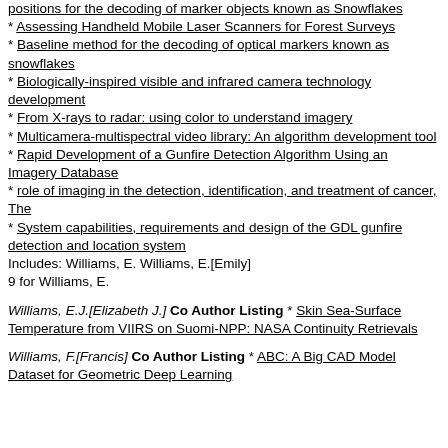positions for the decoding of marker objects known as Snowflakes
Assessing Handheld Mobile Laser Scanners for Forest Surveys
Baseline method for the decoding of optical markers known as snowflakes
Biologically-inspired visible and infrared camera technology development
From X-rays to radar: using color to understand imagery
Multicamera-multispectral video library: An algorithm development tool
Rapid Development of a Gunfire Detection Algorithm Using an Imagery Database
role of imaging in the detection, identification, and treatment of cancer, The
System capabilities, requirements and design of the GDL gunfire detection and location system
Includes: Williams, E. Williams, E.[Emily]
9 for Williams, E.
Williams, E.J.[Elizabeth J.] Co Author Listing * Skin Sea-Surface Temperature from VIIRS on Suomi-NPP: NASA Continuity Retrievals
Williams, F.[Francis] Co Author Listing * ABC: A Big CAD Model Dataset for Geometric Deep Learning